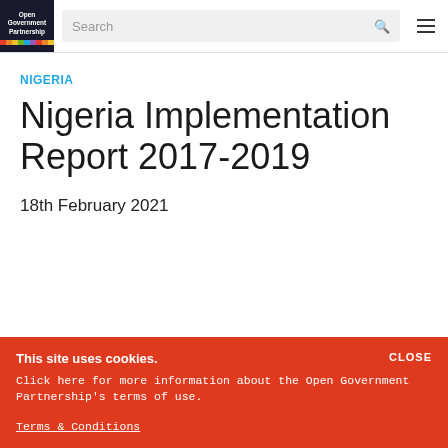Open Government Partnership | Search
NIGERIA
Nigeria Implementation Report 2017-2019
18th February 2021
This site uses cookies. Click here for more information about the Open Government Partnership's terms of use. Terms & Conditions